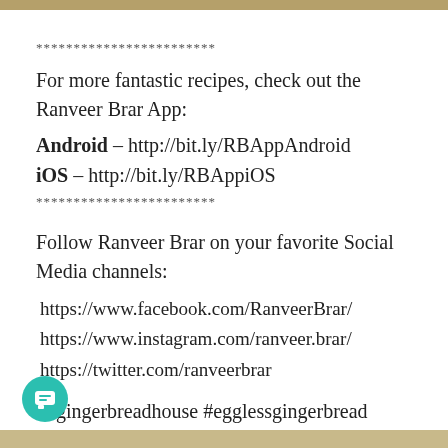************************
For more fantastic recipes, check out the Ranveer Brar App:
Android – http://bit.ly/RBAppAndroid
iOS – http://bit.ly/RBAppiOS
************************
Follow Ranveer Brar on your favorite Social Media channels:
https://www.facebook.com/RanveerBrar/
https://www.instagram.com/ranveer.brar/
https://twitter.com/ranveerbrar
#gingerbreadhouse #egglessgingerbread #gingerbreadcookies #Christmascake #plumcake